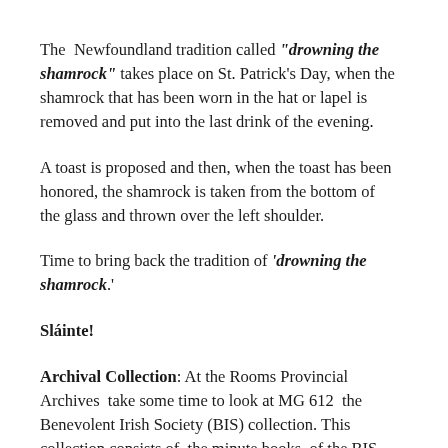The Newfoundland tradition called "drowning the shamrock" takes place on St. Patrick's Day, when the shamrock that has been worn in the hat or lapel is removed and put into the last drink of the evening.
A toast is proposed and then, when the toast has been honored, the shamrock is taken from the bottom of the glass and thrown over the left shoulder.
Time to bring back the tradition of 'drowning the shamrock.'
Sláinte!
Archival Collection: At the Rooms Provincial Archives take some time to look at MG 612 the Benevolent Irish Society (BIS) collection. This collection consists of the minute books of the BIS (1822-1933, 1938-1970, 1973-1979); agendas